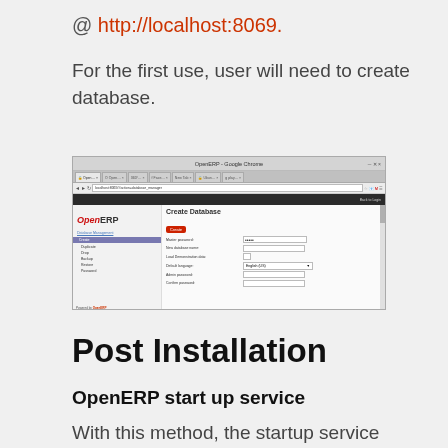@ http://localhost:8069.
For the first use, user will need to create database.
[Figure (screenshot): Screenshot of OpenERP Create Database page in Google Chrome browser showing sidebar with Database Management options (Create, Duplicate, Drop, Backup, Restore, Password) and main form with fields: Master password, New database name, Load Demonstration data, Default language (English US), Admin password, Confirm password.]
Post Installation
OpenERP start up service
With this method, the startup service